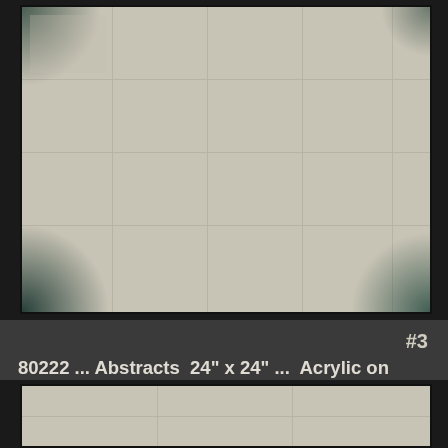[Figure (photo): Photograph of an abstract acrylic painting on gallery-wrapped canvas showing a grid pattern of rectangular panels in beige/cream tones with dark corners and borders, displayed from above]
#3
80222 ... Abstracts  24" x 24" ...  Acrylic on gallery-wrapped canvas, all would be framed as on #1 and #2 ..  Price: $1200 each w/ frame...
[Figure (photo): Partial bottom view of another abstract canvas painting showing a similar grid/panel pattern in beige/cream tones]